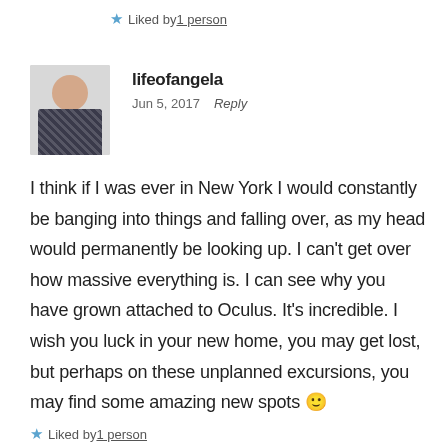Liked by 1 person
[Figure (photo): Avatar photo of lifeofangela — a woman in a patterned top against a grey background]
lifeofangela
Jun 5, 2017   Reply
I think if I was ever in New York I would constantly be banging into things and falling over, as my head would permanently be looking up. I can't get over how massive everything is. I can see why you have grown attached to Oculus. It's incredible. I wish you luck in your new home, you may get lost, but perhaps on these unplanned excursions, you may find some amazing new spots 🙂
Liked by 1 person